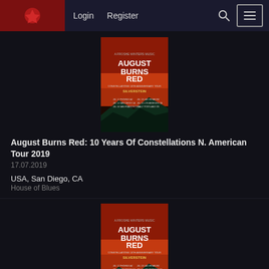Login  Register
[Figure (illustration): Concert poster for August Burns Red: 10 Years Of Constellations N. American Tour 2019, featuring Silverstein, with a fiery red and dark teal background]
August Burns Red: 10 Years Of Constellations N. American Tour 2019
17.07.2019
USA, San Diego, CA
House of Blues
August Burns Red
Silverstein
Silent Planet
[Figure (illustration): Second concert poster for August Burns Red, same design as above, partially visible at bottom of page]